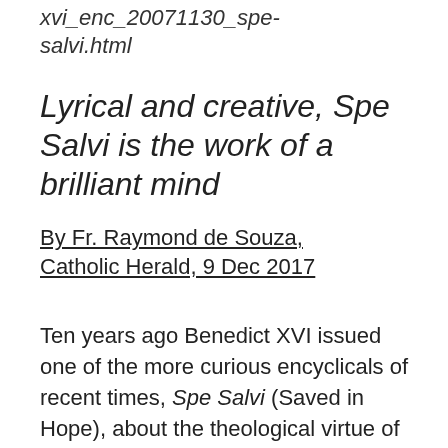xvi_enc_20071130_spe-salvi.html
Lyrical and creative, Spe Salvi is the work of a brilliant mind
By Fr. Raymond de Souza, Catholic Herald, 9 Dec 2017
Ten years ago Benedict XVI issued one of the more curious encyclicals of recent times, Spe Salvi (Saved in Hope), about the theological virtue of hope. The nature of its appearance meant that it has been prematurely